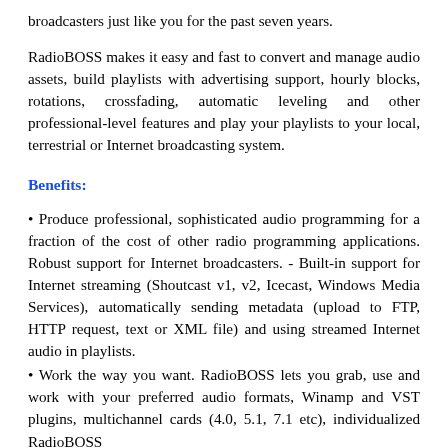broadcasters just like you for the past seven years.
RadioBOSS makes it easy and fast to convert and manage audio assets, build playlists with advertising support, hourly blocks, rotations, crossfading, automatic leveling and other professional-level features and play your playlists to your local, terrestrial or Internet broadcasting system.
Benefits:
• Produce professional, sophisticated audio programming for a fraction of the cost of other radio programming applications. Robust support for Internet broadcasters. - Built-in support for Internet streaming (Shoutcast v1, v2, Icecast, Windows Media Services), automatically sending metadata (upload to FTP, HTTP request, text or XML file) and using streamed Internet audio in playlists.
• Work the way you want. RadioBOSS lets you grab, use and work with your preferred audio formats, Winamp and VST plugins, multichannel cards (4.0, 5.1, 7.1 etc), individualized RadioBOSS